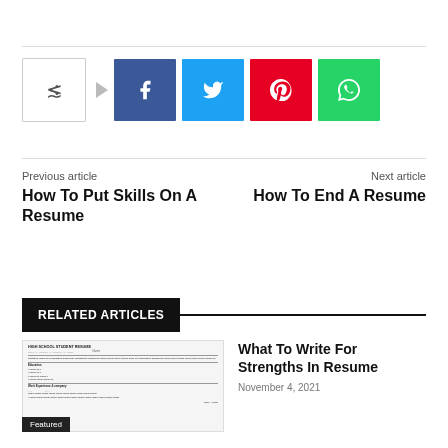[Figure (infographic): Social share bar with share icon, Facebook, Twitter, Pinterest, and WhatsApp buttons]
Previous article
How To Put Skills On A Resume
Next article
How To End A Resume
RELATED ARTICLES
[Figure (screenshot): Thumbnail of High School Student Resume document]
Featured
What To Write For Strengths In Resume
November 4, 2021